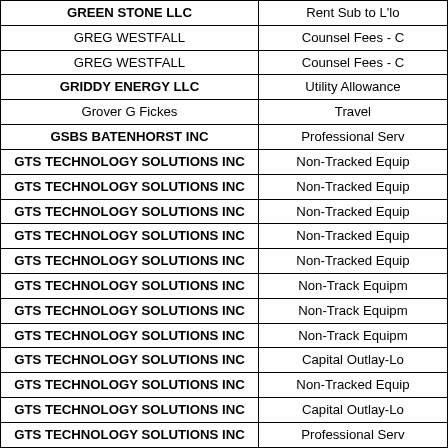| Vendor Name | Category |
| --- | --- |
| GREEN STONE LLC | Rent Sub to L'lo |
| GREG WESTFALL | Counsel Fees - C |
| GREG WESTFALL | Counsel Fees - C |
| GRIDDY ENERGY LLC | Utility Allowance |
| Grover G Fickes | Travel |
| GSBS BATENHORST INC | Professional Serv |
| GTS TECHNOLOGY SOLUTIONS INC | Non-Tracked Equip |
| GTS TECHNOLOGY SOLUTIONS INC | Non-Tracked Equip |
| GTS TECHNOLOGY SOLUTIONS INC | Non-Tracked Equip |
| GTS TECHNOLOGY SOLUTIONS INC | Non-Tracked Equip |
| GTS TECHNOLOGY SOLUTIONS INC | Non-Tracked Equip |
| GTS TECHNOLOGY SOLUTIONS INC | Non-Track Equipm |
| GTS TECHNOLOGY SOLUTIONS INC | Non-Track Equipm |
| GTS TECHNOLOGY SOLUTIONS INC | Non-Track Equipm |
| GTS TECHNOLOGY SOLUTIONS INC | Capital Outlay-Lo |
| GTS TECHNOLOGY SOLUTIONS INC | Non-Tracked Equip |
| GTS TECHNOLOGY SOLUTIONS INC | Capital Outlay-Lo |
| GTS TECHNOLOGY SOLUTIONS INC | Professional Serv |
| GULLIVER'S TRAVEL SERVICE INC | Education |
| GULLIVER'S TRAVEL SERVICE INC | Travel |
| GW OUTFITTERS LP | Supplies |
| GW OUTFITTERS LP | Supplies |
| GW OUTFITTERS LP | Supplies |
| GWENDOLYN BRICE MCCOWEN | Rent Sub to L'lo |